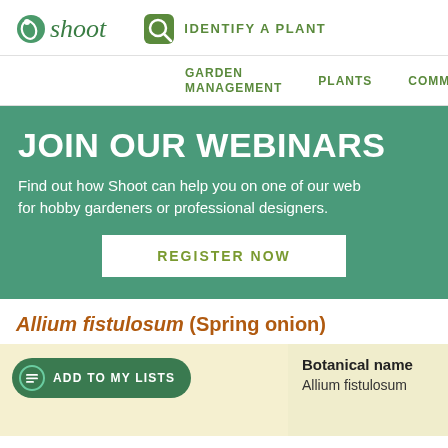shoot — IDENTIFY A PLANT
GARDEN MANAGEMENT   PLANTS   COMMU
[Figure (infographic): Green banner with text: JOIN OUR WEBINARS. Find out how Shoot can help you on one of our web for hobby gardeners or professional designers. REGISTER NOW button.]
Allium fistulosum (Spring onion)
ADD TO MY LISTS
Botanical name
Allium fistulosum